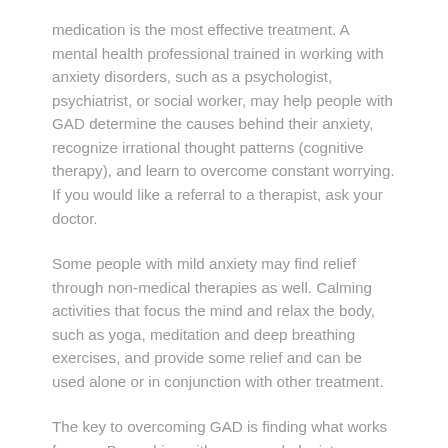medication is the most effective treatment. A mental health professional trained in working with anxiety disorders, such as a psychologist, psychiatrist, or social worker, may help people with GAD determine the causes behind their anxiety, recognize irrational thought patterns (cognitive therapy), and learn to overcome constant worrying. If you would like a referral to a therapist, ask your doctor.
Some people with mild anxiety may find relief through non-medical therapies as well. Calming activities that focus the mind and relax the body, such as yoga, meditation and deep breathing exercises, and provide some relief and can be used alone or in conjunction with other treatment.
The key to overcoming GAD is finding what works for you. By working with your psychologist or physician, you can find the best treatment (or combination of treatments) for your individual care.